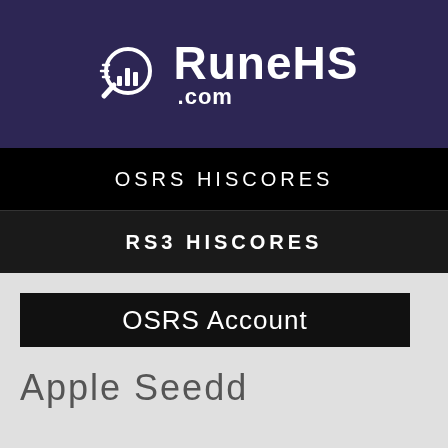[Figure (logo): RuneHS.com logo with magnifying glass icon containing a bar chart, on dark purple background]
OSRS HISCORES
RS3 HISCORES
OSRS Account
Apple Seedd